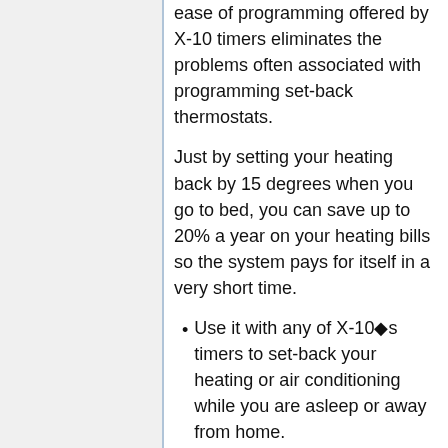ease of programming offered by X-10 timers eliminates the problems often associated with programming set-back thermostats.
Just by setting your heating back by 15 degrees when you go to bed, you can save up to 20% a year on your heating bills so the system pays for itself in a very short time.
Use it with any of X-10�s timers to set-back your heating or air conditioning while you are asleep or away from home.
Use it with the telephone responder to turn up the heating in your winter home before you leave for a skiing vacation, or to turn up the air conditioning in your summer home.
Use it with the Mini Controller to turn